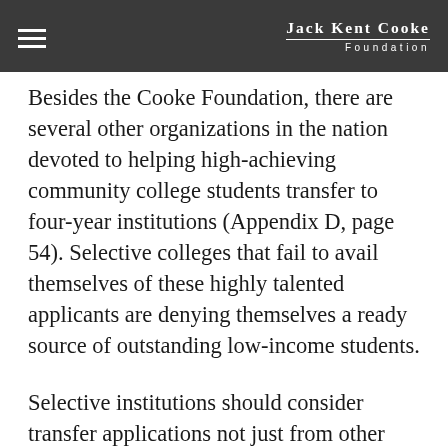Jack Kent Cooke Foundation
Besides the Cooke Foundation, there are several other organizations in the nation devoted to helping high-achieving community college students transfer to four-year institutions (Appendix D, page 54). Selective colleges that fail to avail themselves of these highly talented applicants are denying themselves a ready source of outstanding low-income students.
Selective institutions should consider transfer applications not just from other four-year institutions, but from community colleges as well. Yet our research shows that only 63 percent of selective colleges accept transfer credits from two-year institutions, and only 56 percent have articulation agreements with community colleges.